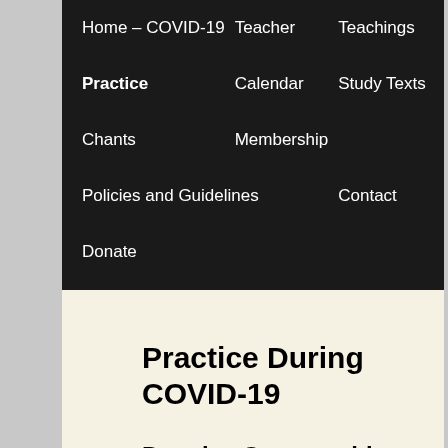Home – COVID-19    Teacher    Teachings
Practice    Calendar    Study Texts
Chants    Membership
Policies and Guidelines    Contact
Donate
Practice During COVID-19
Practice Opportunities
Please note that our practice offerings are now available through Zoom video conferencing. If you